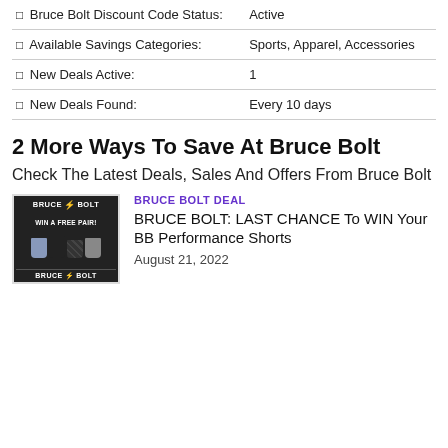|  |  |
| --- | --- |
| ⬜ Bruce Bolt Discount Code Status: | Active |
| ⬜ Available Savings Categories: | Sports, Apparel, Accessories |
| ⬜ New Deals Active: | 1 |
| ⬜ New Deals Found: | Every 10 days |
2 More Ways To Save At Bruce Bolt
Check The Latest Deals, Sales And Offers From Bruce Bolt
[Figure (photo): Bruce Bolt promotional image showing shorts with text WIN A FREE PAIR and BRUCE BOLT branding]
BRUCE BOLT DEAL
BRUCE BOLT: LAST CHANCE To WIN Your BB Performance Shorts
August 21, 2022